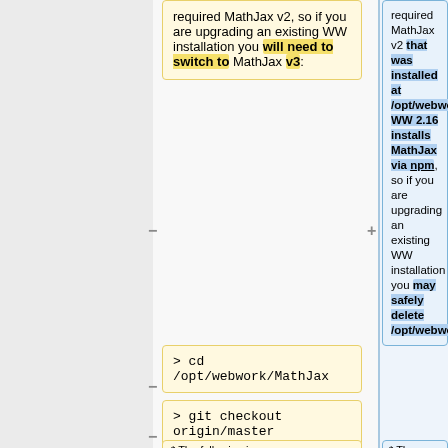required MathJax v2, so if you are upgrading an existing WW installation you will need to switch to MathJax v3:
required MathJax v2 that was installed at /opt/webwork/MathJax.  WW 2.16 installs MathJax via npm, so if you are upgrading an existing WW installation you may safely delete /opt/webwork/MathJax.
> cd /opt/webwork/MathJax
> git checkout origin/master
* The following...
* The following...